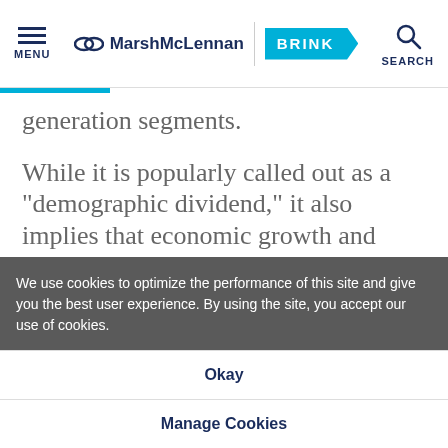MENU | MarshMcLennan BRINK | SEARCH
generation segments.
While it is popularly called out as a “demographic dividend,” it also implies that economic growth and resulting job creation need to serve the needs of the
We use cookies to optimize the performance of this site and give you the best user experience. By using the site, you accept our use of cookies.
Okay
Manage Cookies